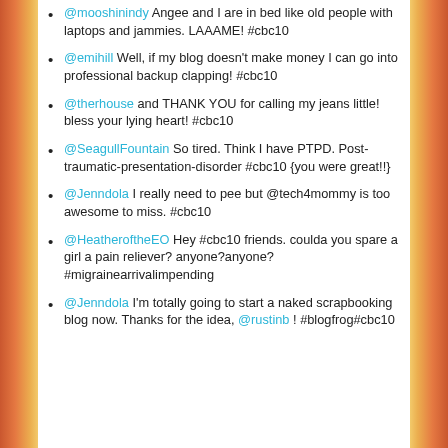@mooshinindy Angee and I are in bed like old people with laptops and jammies. LAAAME! #cbc10
@emihill Well, if my blog doesn't make money I can go into professional backup clapping! #cbc10
@therhouse and THANK YOU for calling my jeans little! bless your lying heart! #cbc10
@SeagullFountain So tired. Think I have PTPD. Post-traumatic-presentation-disorder #cbc10 {you were great!!}
@Jenndola I really need to pee but @tech4mommy is too awesome to miss. #cbc10
@HeatheroftheEO Hey #cbc10 friends. coulda you spare a girl a pain reliever? anyone?anyone? #migrainearrivalimpending
@Jenndola I'm totally going to start a naked scrapbooking blog now. Thanks for the idea, @rustinb ! #blogfrog#cbc10